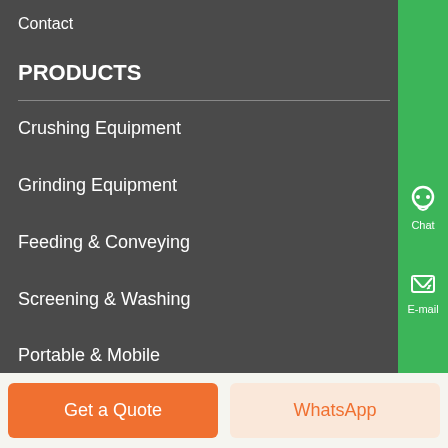Contact
PRODUCTS
Crushing Equipment
Grinding Equipment
Feeding & Conveying
Screening & Washing
Portable & Mobile
Beneficiation Equipment
Get a Quote
WhatsApp